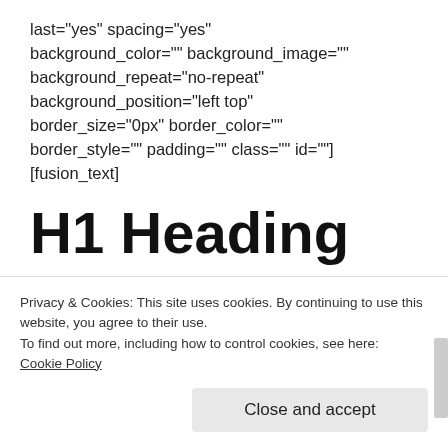last="yes" spacing="yes" background_color="" background_image="" background_repeat="no-repeat" background_position="left top" border_size="0px" border_color="" border_style="" padding="" class="" id=""] [fusion_text]
H1 Heading
H2 Heading
Privacy & Cookies: This site uses cookies. By continuing to use this website, you agree to their use.
To find out more, including how to control cookies, see here:
Cookie Policy
Close and accept